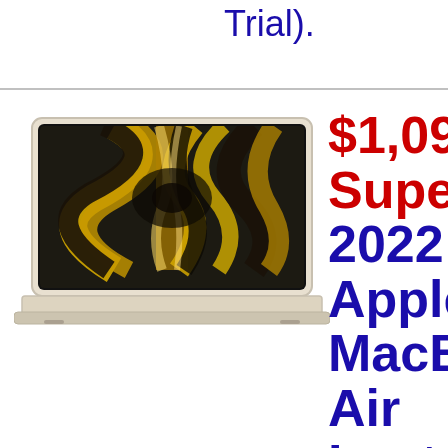Trial).
[Figure (photo): MacBook Air laptop in starlight color with colorful abstract wallpaper showing yellow and dark swirling patterns on screen]
$1,099 Super 2022 Apple MacBook Air Lapto...